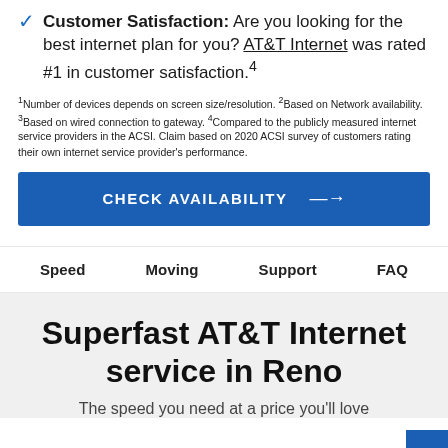Customer Satisfaction: Are you looking for the best internet plan for you? AT&T Internet was rated #1 in customer satisfaction.⁴
¹Number of devices depends on screen size/resolution. ²Based on Network availability. ³Based on wired connection to gateway. ⁴Compared to the publicly measured internet service providers in the ACSI. Claim based on 2020 ACSI survey of customers rating their own internet service provider's performance.
CHECK AVAILABILITY →
Speed   Moving   Support   FAQ
Superfast AT&T Internet service in Reno
The speed you need at a price you'll love